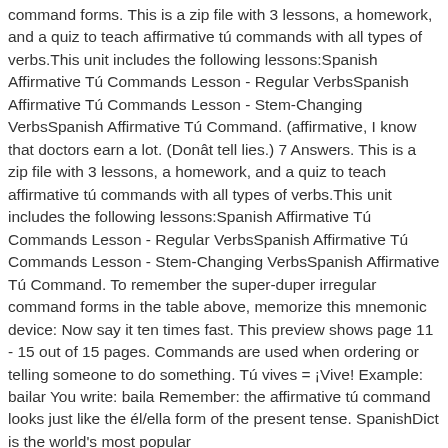command forms. This is a zip file with 3 lessons, a homework, and a quiz to teach affirmative tú commands with all types of verbs.This unit includes the following lessons:Spanish Affirmative Tú Commands Lesson - Regular VerbsSpanish Affirmative Tú Commands Lesson - Stem-Changing VerbsSpanish Affirmative Tú Command. (affirmative, I know that doctors earn a lot. (Donât tell lies.) 7 Answers. This is a zip file with 3 lessons, a homework, and a quiz to teach affirmative tú commands with all types of verbs.This unit includes the following lessons:Spanish Affirmative Tú Commands Lesson - Regular VerbsSpanish Affirmative Tú Commands Lesson - Stem-Changing VerbsSpanish Affirmative Tú Command. To remember the super-duper irregular command forms in the table above, memorize this mnemonic device: Now say it ten times fast. This preview shows page 11 - 15 out of 15 pages. Commands are used when ordering or telling someone to do something. Tú vives = ¡Vive! Example: bailar You write: baila Remember: the affirmative tú command looks just like the él/ella form of the present tense. SpanishDict is the world's most popular